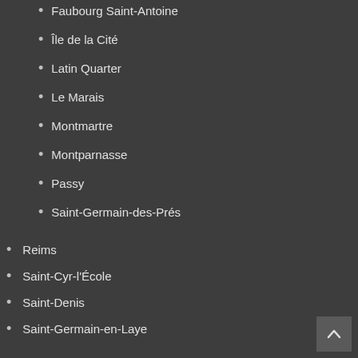Faubourg Saint-Antoine
Île de la Cité
Latin Quarter
Le Marais
Montmartre
Montparnasse
Passy
Saint-Germain-des-Prés
Reims
Saint-Cyr-l'École
Saint-Denis
Saint-Germain-en-Laye
Strasbourg
Toulon
Toulouse
Versailles
Villeneuve lez Avignon
Vincennes
Germany
Aachen